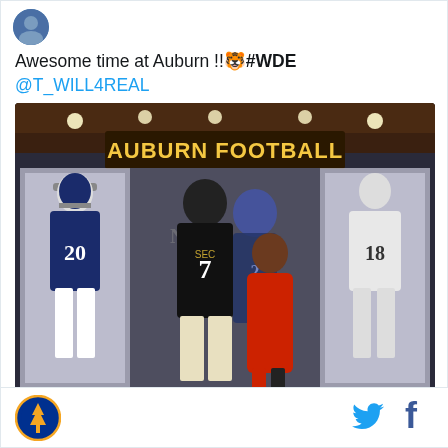Awesome time at Auburn !! 🐯 #WDE @T_WILL4REAL
[Figure (photo): Two people posing inside the Auburn Football facility. A tall young man wearing an Auburn jersey #7 stands next to a woman in a red outfit. Behind them are display cases with Auburn football uniforms (#20 and #18) and action photo murals of players. 'AUBURN FOOTBALL' sign is visible above.]
[Figure (logo): Auburn University circular logo/seal with blue and orange colors]
[Figure (logo): Twitter bird icon in blue]
[Figure (logo): Facebook 'f' icon in dark blue/navy]